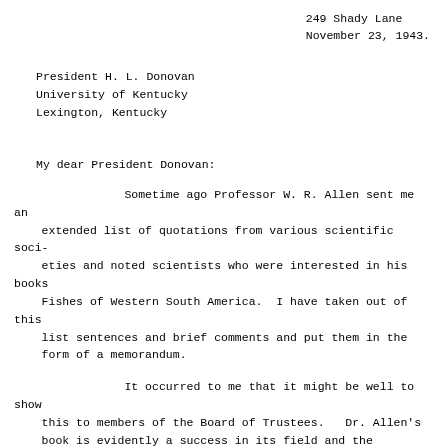249 Shady Lane
November 23, 1943.
President H. L. Donovan
University of Kentucky
Lexington, Kentucky
My dear President Donovan:
Sometime ago Professor W. R. Allen sent me an extended list of quotations from various scientific societies and noted scientists who were interested in his books Fishes of Western South America.  I have taken out of this list sentences and brief comments and put them in the form of a memorandum.
It occurred to me that it might be well to show this to members of the Board of Trustees.   Dr. Allen's book is evidently a success in its field and the publication of it has given to the University many compliments and a good deal of favorable attention.